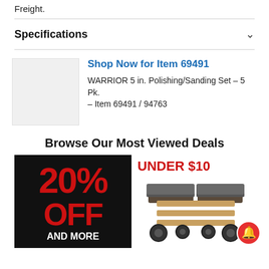Freight.
Specifications
Shop Now for Item 69491
WARRIOR 5 in. Polishing/Sanding Set – 5 Pk. – Item 69491 / 94763
Browse Our Most Viewed Deals
[Figure (infographic): Black background promotional banner showing '20% OFF AND MORE' in large red text]
[Figure (infographic): UNDER $10 promotional section with image of a furniture moving dolly on wheels]